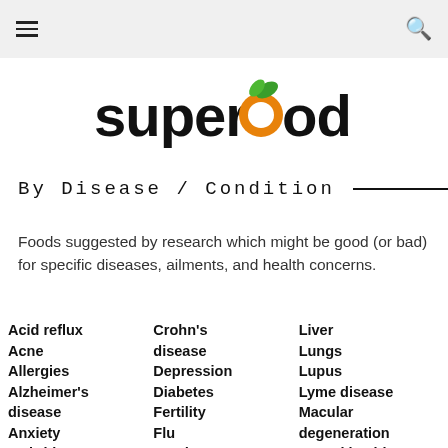☰  🔍
[Figure (logo): Superfoodly logo with orange circle and green leaf above the letter o]
By Disease / Condition
Foods suggested by research which might be good (or bad) for specific diseases, ailments, and health concerns.
Acid reflux
Acne
Allergies
Alzheimer's disease
Anxiety
Arthritis
Crohn's disease
Depression
Diabetes
Fertility
Flu
Food
Liver
Lungs
Lupus
Lyme disease
Macular degeneration
Mental health